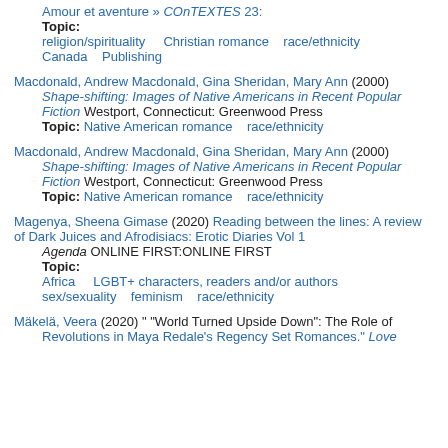Amour et aventure » COnTEXTES 23:
Topic:
religion/spirituality    Christian romance    race/ethnicity
Canada    Publishing
Macdonald, Andrew Macdonald, Gina Sheridan, Mary Ann (2000) Shape-shifting: Images of Native Americans in Recent Popular Fiction Westport, Connecticut: Greenwood Press
Topic:  Native American romance    race/ethnicity
Macdonald, Andrew Macdonald, Gina Sheridan, Mary Ann (2000) Shape-shifting: Images of Native Americans in Recent Popular Fiction Westport, Connecticut: Greenwood Press
Topic:  Native American romance    race/ethnicity
Magenya, Sheena Gimase (2020) Reading between the lines: A review of Dark Juices and Afrodisiacs: Erotic Diaries Vol 1 Agenda ONLINE FIRST:ONLINE FIRST
Topic:
Africa    LGBT+ characters, readers and/or authors
sex/sexuality    feminism    race/ethnicity
Mäkelä, Veera (2020) " "World Turned Upside Down": The Role of Revolutions in Maya Redale's Regency Set Romances." Love